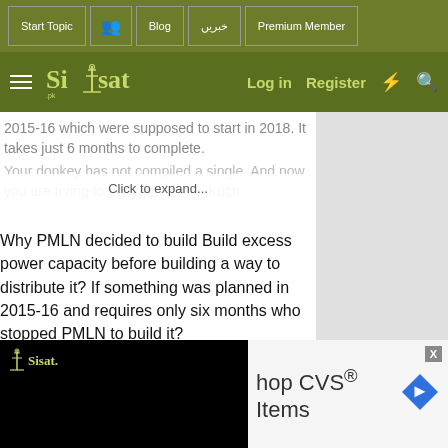Start Topic | [icon] | Blog | خبریں | Premium Member
Siasat — Log in | Register
2015-16 which were supposed to start in 2018. It takes just 6 months to complete.
Your donkey has not compiled a single. And now you are trying to bodyguard... — Kuch
Click to expand...
Why PMLN decided to build Build excess power capacity before building a way to distribute it? If something was planned in 2015-16 and requires only six months who stopped PMLN to build it?
[Figure (screenshot): Siasat video player panel, black background with Siasat logo]
hop CVS® Items